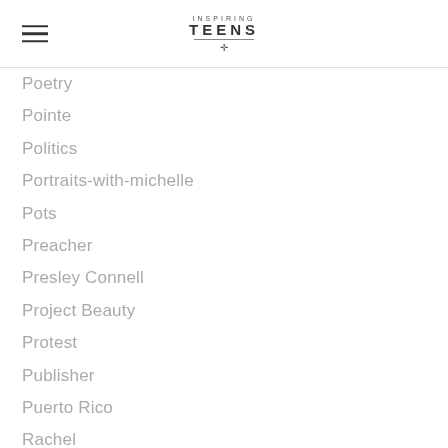Inspiring Teens
Poetry
Pointe
Politics
Portraits-with-michelle
Pots
Preacher
Presley Connell
Project Beauty
Protest
Publisher
Puerto Rico
Rachel
Rachel Brushwood
Rachel-gunder
Radio-show-host
Raina Saldivar
Rainbow
Raley-blacklock